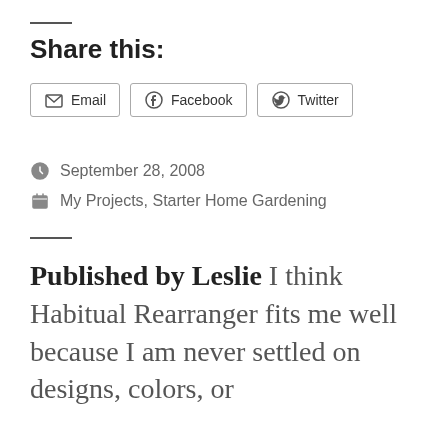Share this:
Email   Facebook   Twitter
September 28, 2008
My Projects, Starter Home Gardening
Published by Leslie I think Habitual Rearranger fits me well because I am never settled on designs, colors, or